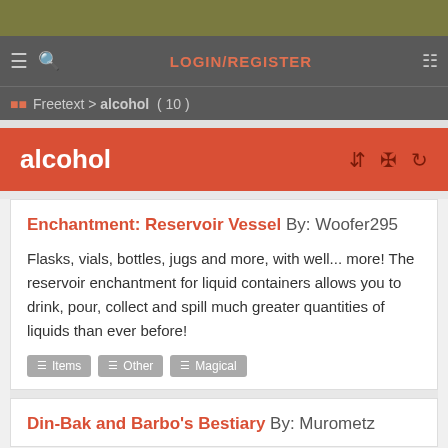LOGIN/REGISTER
Freetext > alcohol ( 10 )
alcohol
Enchantment: Reservoir Vessel By: Woofer295
Flasks, vials, bottles, jugs and more, with well... more! The reservoir enchantment for liquid containers allows you to drink, pour, collect and spill much greater quantities of liquids than ever before!
Items
Other
Magical
Din-Bak and Barbo's Bestiary By: Murometz